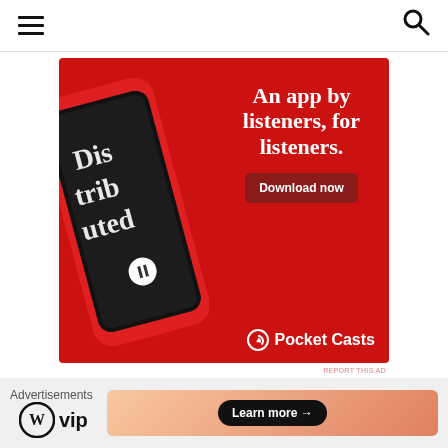Navigation header with hamburger menu and search icon
[Figure (illustration): Pocket Casts advertisement on red background showing a smartphone with the app and text: An app by listeners, for listeners. Download now. Pocket Casts.]
REPORT THIS AD
FOLLOW ME!
[Figure (infographic): Bottom advertisement bar with WordPress VIP logo and a Learn more button on gradient background. Labeled Advertisements.]